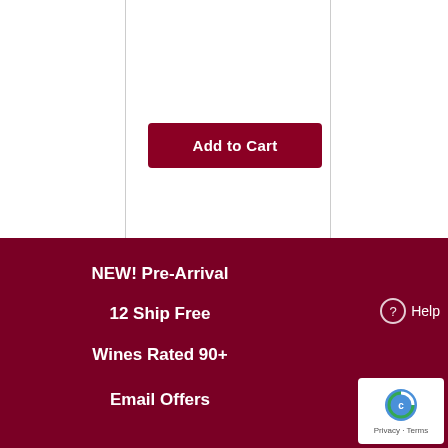[Figure (screenshot): White top section with vertical panel borders and a dark red Add to Cart button]
Add to Cart
NEW! Pre-Arrival
12 Ship Free
Wines Rated 90+
Email Offers
Help
[Figure (logo): reCAPTCHA badge with Privacy and Terms links]